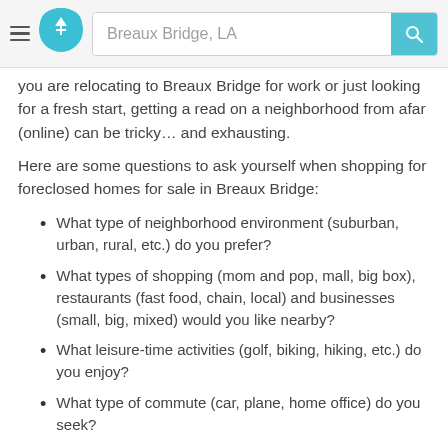Breaux Bridge, LA
you are relocating to Breaux Bridge for work or just looking for a fresh start, getting a read on a neighborhood from afar (online) can be tricky… and exhausting.
Here are some questions to ask yourself when shopping for foreclosed homes for sale in Breaux Bridge:
What type of neighborhood environment (suburban, urban, rural, etc.) do you prefer?
What types of shopping (mom and pop, mall, big box), restaurants (fast food, chain, local) and businesses (small, big, mixed) would you like nearby?
What leisure-time activities (golf, biking, hiking, etc.) do you enjoy?
What type of commute (car, plane, home office) do you seek?
In short, it always helps to create a “Pros vs. Cons” list of what you need in a home and/or neighborhood like Breaux Bridge.